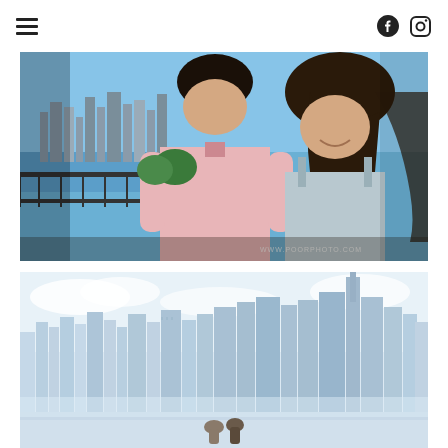hamburger menu icon, Facebook icon, Instagram icon
[Figure (photo): A couple standing close together on a rooftop or elevated platform with the NYC skyline and water in the background. The man is wearing a pink shirt, the woman has long dark wavy hair and smiles up at him. Watermark: WWW.POORPHOTO.COM]
[Figure (photo): Wide shot of the NYC skyline with tall skyscrapers including One World Trade Center visible against a pale blue sky. A couple can be seen small in the lower center foreground.]